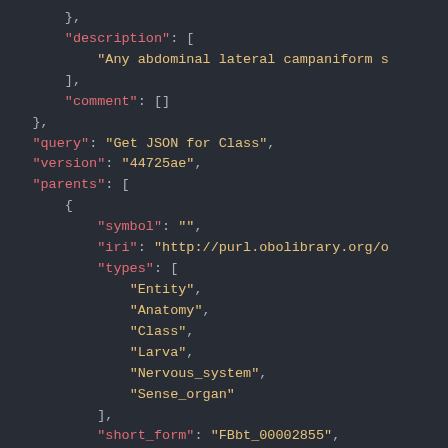JSON code snippet showing fields: description, comment, query, version, parents (with symbol, iri, types, short_form fields)